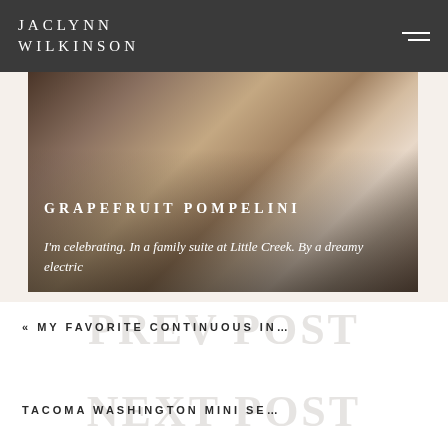JACLYNN WILKINSON
[Figure (photo): A person holding a fluffy puppy, soft warm tones, with overlay text for blog post titled GRAPEFRUIT POMPELINI]
GRAPEFRUIT POMPELINI
I'm celebrating. In a family suite at Little Creek. By a dreamy electric
« MY FAVORITE CONTINUOUS IN…
TACOMA WASHINGTON MINI SE…